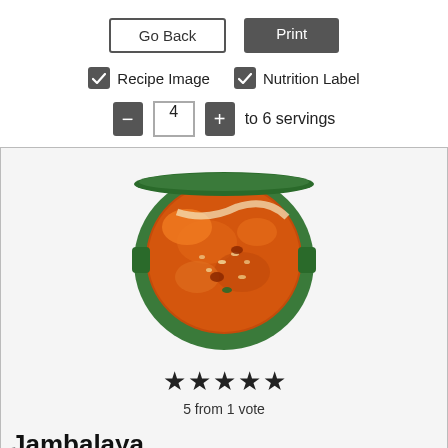Go Back | Print
✓ Recipe Image  ✓ Nutrition Label
— 4 + to 6 servings
[Figure (photo): A top-down photo of jambalaya in a green Dutch oven pot, showing a rice and meat dish in orange-red tomato sauce.]
★★★★★ 5 from 1 vote
Jambalaya